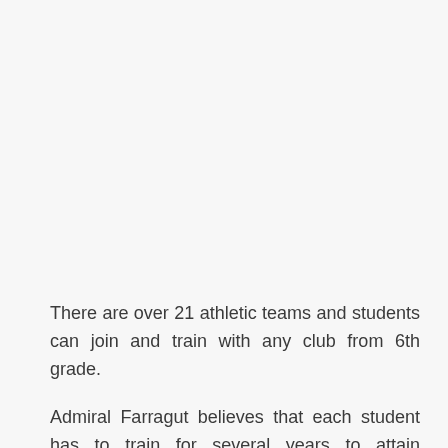There are over 21 athletic teams and students can join and train with any club from 6th grade.
Admiral Farragut believes that each student has to train for several years to attain excellence.
Before you can fully join the football prep